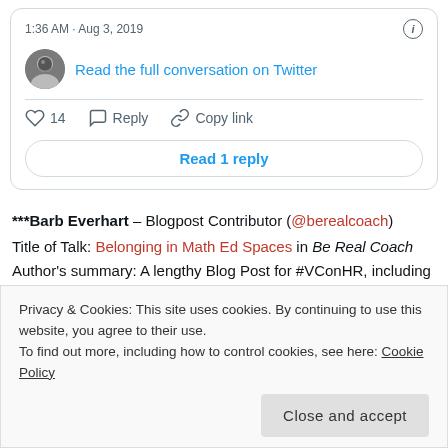[Figure (screenshot): Twitter/X embedded tweet card showing timestamp '1:36 AM · Aug 3, 2019', user avatar, 'Read the full conversation on Twitter' link, like count of 14, Reply, Copy link actions, and 'Read 1 reply' button]
***Barb Everhart – Blogpost Contributor (@berealcoach)
Title of Talk: Belonging in Math Ed Spaces in Be Real Coach
Author's summary: A lengthy Blog Post for #VConHR, including an extended response from last week's blog and in response to @PaiMath, and furthering the discussion with @ddmeyer around belonging. I am responding to the Week 2 mini prompt: What are
Privacy & Cookies: This site uses cookies. By continuing to use this website, you agree to their use.
To find out more, including how to control cookies, see here: Cookie Policy
Close and accept